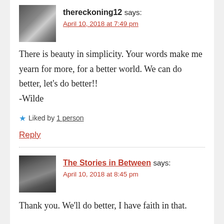[Figure (photo): Black and white avatar image showing hands]
thereckoning12 says:
April 10, 2018 at 7:49 pm
There is beauty in simplicity. Your words make me yearn for more, for a better world. We can do better, let's do better!!
-Wilde
Liked by 1 person
Reply
[Figure (photo): Black and white avatar photo of a man with beard and long hair]
The Stories in Between says:
April 10, 2018 at 8:45 pm
Thank you. We'll do better, I have faith in that.